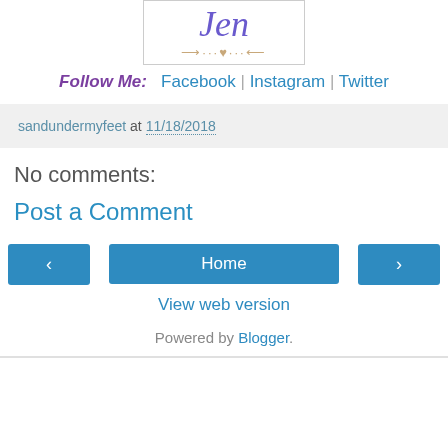[Figure (logo): Blog logo with cursive 'Jen' text in purple/indigo and decorative arrow divider in tan/brown]
Follow Me:  Facebook | Instagram | Twitter
sandundermyfeet at 11/18/2018
No comments:
Post a Comment
‹  Home  ›
View web version
Powered by Blogger.